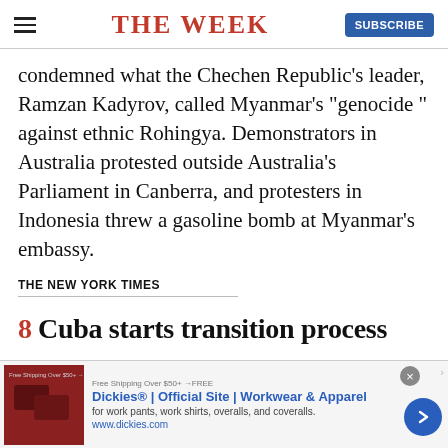THE WEEK
condemned what the Chechen Republic's leader, Ramzan Kadyrov, called Myanmar's "genocide " against ethnic Rohingya. Demonstrators in Australia protested outside Australia's Parliament in Canberra, and protesters in Indonesia threw a gasoline bomb at Myanmar's embassy.
THE NEW YORK TIMES
8 Cuba starts transition process
[Figure (other): Advertisement banner for Dickies workwear with product image, text, and forward arrow button]